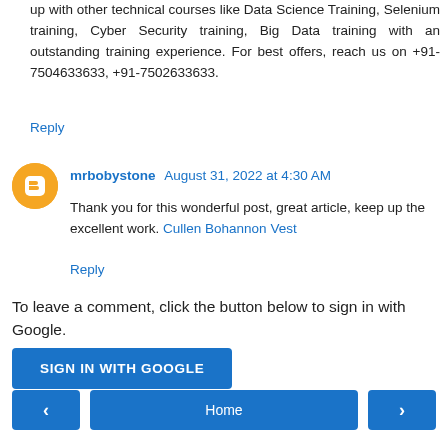up with other technical courses like Data Science Training, Selenium training, Cyber Security training, Big Data training with an outstanding training experience. For best offers, reach us on +91-7504633633, +91-7502633633.
Reply
mrbobystone  August 31, 2022 at 4:30 AM
Thank you for this wonderful post, great article, keep up the excellent work. Cullen Bohannon Vest
Reply
To leave a comment, click the button below to sign in with Google.
SIGN IN WITH GOOGLE
‹
Home
›